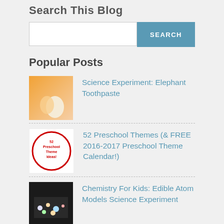Search This Blog
[Figure (screenshot): Search bar with text input and SEARCH button]
Popular Posts
[Figure (photo): Thumbnail for Science Experiment: Elephant Toothpaste]
Science Experiment: Elephant Toothpaste
[Figure (photo): Thumbnail for 52 Preschool Themes (& FREE 2016-2017 Preschool Theme Calendar!)]
52 Preschool Themes (& FREE 2016-2017 Preschool Theme Calendar!)
[Figure (photo): Thumbnail for Chemistry For Kids: Edible Atom Models Science Experiment]
Chemistry For Kids: Edible Atom Models Science Experiment
[Figure (photo): Thumbnail for 13+ Famous Artists Inspired Art Projects For Kids!]
13+ Famous Artists Inspired Art Projects For Kids!